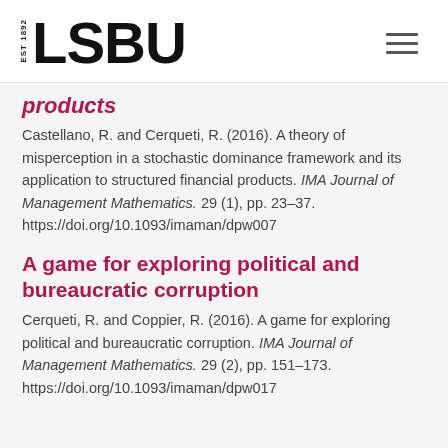EST 1892 LSBU
products
Castellano, R. and Cerqueti, R. (2016). A theory of misperception in a stochastic dominance framework and its application to structured financial products. IMA Journal of Management Mathematics. 29 (1), pp. 23–37. https://doi.org/10.1093/imaman/dpw007
A game for exploring political and bureaucratic corruption
Cerqueti, R. and Coppier, R. (2016). A game for exploring political and bureaucratic corruption. IMA Journal of Management Mathematics. 29 (2), pp. 151–173. https://doi.org/10.1093/imaman/dpw017